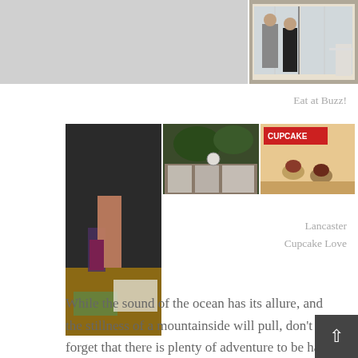[Figure (photo): Two people seen from behind standing outside a shop with large windows]
Eat at Buzz!
[Figure (photo): Three photo collage: person holding drink at bar/table, street scene with shops and trees, cupcake shop interior with people holding cupcakes]
Lancaster Cupcake Love
While the sound of the ocean has its allure, and the stillness of a mountainside will pull, don't forget that there is plenty of adventure to be had just around the corner.  Whether